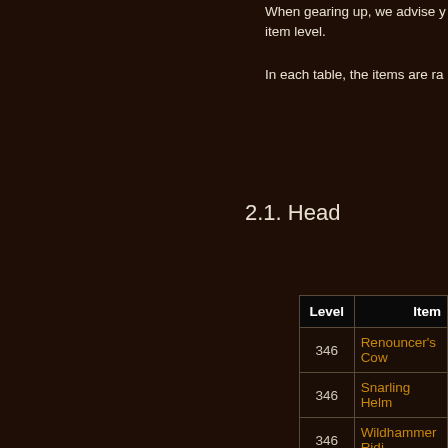When gearing up, we advise y... item level.
In each table, the items are ra...
2.1. Head
| Level | Item |
| --- | --- |
| 346 | Renouncer's Cow... |
| 346 | Snarling Helm |
| 346 | Wildhammer Ridi... |
| 346 | Willow Mask |
| 346 | Windhome Helm |
| 346 | Worgen Hunter's ... |
| 353 | Headdress of Sha... |
| 359 | Arion's Crown |
| 359 | Deadly Bio-Optic... |
| 359 | Lightning-Charge... |